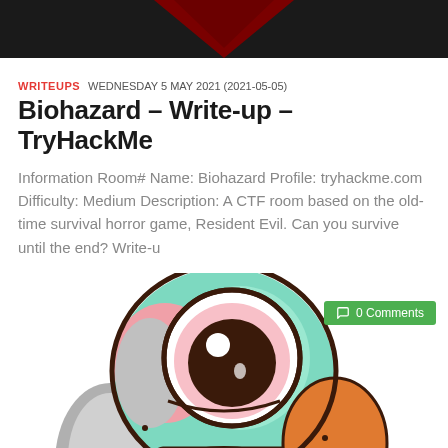[Figure (illustration): Dark banner with dark red/maroon triangular shape (V/arrow pointing down) at the top of the page]
WRITEUPS  WEDNESDAY 5 MAY 2021 (2021-05-05)
Biohazard – Write-up – TryHackMe
Information Room# Name: Biohazard Profile: tryhackme.com Difficulty: Medium Description: A CTF room based on the old-time survival horror game, Resident Evil. Can you survive until the end? Write-u
[Figure (illustration): Cartoon one-eyed alien/monster character wearing an orange outfit, drawn in colorful comic style with green, pink, grey and brown colors, with a '0 Comments' green badge overlaid in the top-right area]